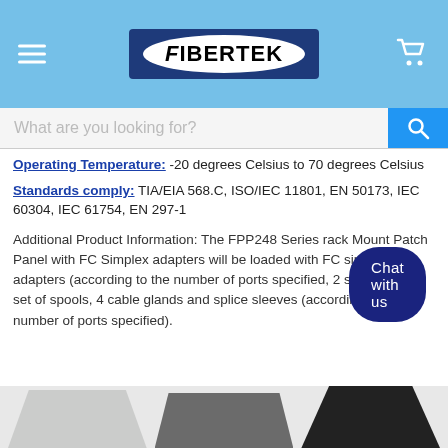FiberTek — Navigation header with logo, hamburger menu, cart icon
What are you looking for? [search bar]
Operating Temperature: -20 degrees Celsius to 70 degrees Celsius
Standards comply: TIA/EIA 568.C, ISO/IEC 11801, EN 50173, IEC 60304, IEC 61754, EN 297-1
Additional Product Information: The FPP248 Series rack Mount Patch Panel with FC Simplex adapters will be loaded with FC simplex adapters (according to the number of ports specified, 2 splice trays, 1 set of spools, 4 cable glands and splice sleeves (according to the number of ports specified).
[Figure (photo): Chat with us button overlay and partial product images at the bottom of the page]